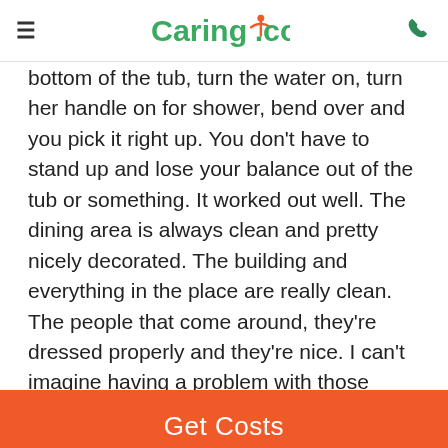Caring.com
bottom of the tub, turn the water on, turn her handle on for shower, bend over and you pick it right up. You don't have to stand up and lose your balance out of the tub or something. It worked out well. The dining area is always clean and pretty nicely decorated. The building and everything in the place are really clean. The people that come around, they're dressed properly and they're nice. I can't imagine having a problem with those people. I know the kitchen was nice, and that my favorite time was in the summer or spring when they get to plant food. They've got off the ground gardening, so I like that part where you can go outside and
Get Costs
and prune off the dead parts and water as needed. If it's good weather, they spend the day out there